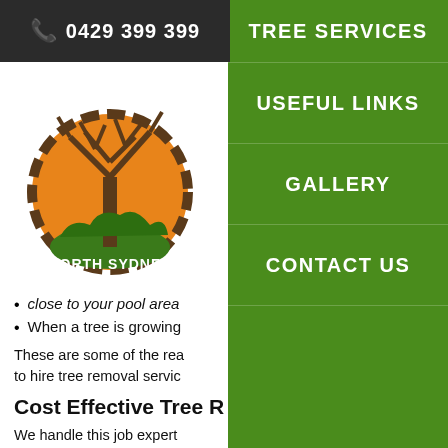📞 0429 399 399
TREE SERVICES
USEFUL LINKS
GALLERY
CONTACT US
[Figure (logo): North Sydney Tree Services logo - brown tree with orange sun circle and gear border]
close to your pool area
When a tree is growing
These are some of the reasons to hire tree removal services.
Cost Effective Tree R
We handle this job expertly safely removed, will also g so it doesn't become a trip All the foliage, branches removed and disposed of very high-grade solutions tree removal Potts Hill is w